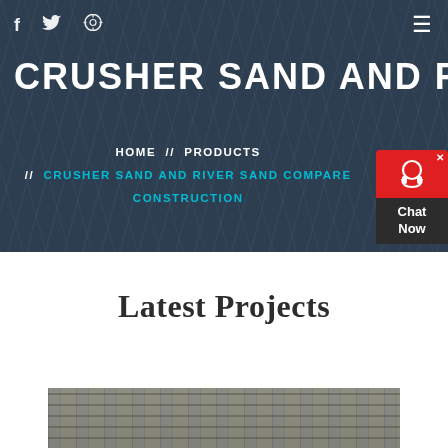f  ✔  ⊙  ≡
CRUSHER SAND AND RIVER SAN
HOME // PRODUCTS // CRUSHER SAND AND RIVER SAND COMPARE CONSTRUCTION
Latest Projects
[Figure (photo): Construction site photo showing steel beams and scaffolding on a building under construction]